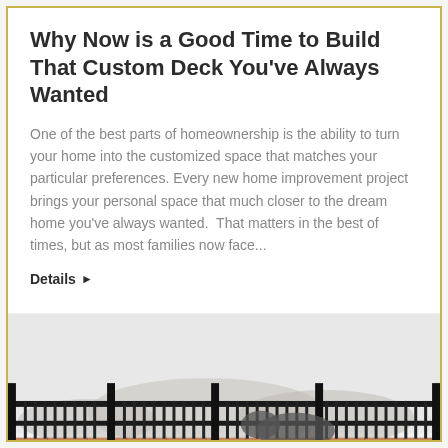Why Now is a Good Time to Build That Custom Deck You've Always Wanted
One of the best parts of homeownership is the ability to turn your home into the customized space that matches your particular preferences. Every new home improvement project brings your personal space that much closer to the dream home you've always wanted.  That matters in the best of times, but as most families now face...
Details ▶
[Figure (photo): Photo of a deck with black metal railing, terracotta/brick-colored floor tiles, and a misty or snowy background showing trees or landscape.]